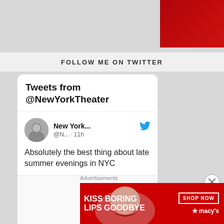[Figure (screenshot): Pocket Casts advertisement banner — red gradient background with Pocket Casts logo (circular icon) and white bold text 'Pocket Casts']
FOLLOW ME ON TWITTER
[Figure (screenshot): Twitter widget card showing 'Tweets from @NewYorkTheater' with a tweet from 'New York... @N... · 11h' reading 'Absolutely the best thing about late summer evenings in NYC', with avatar photo and Twitter bird icon. Below is a blank image preview area.]
Advertisements
[Figure (screenshot): Macy's advertisement banner — red background with woman's face, bold white text 'KISS BORING LIPS GOODBYE', 'SHOP NOW' button outline, and Macy's star logo]